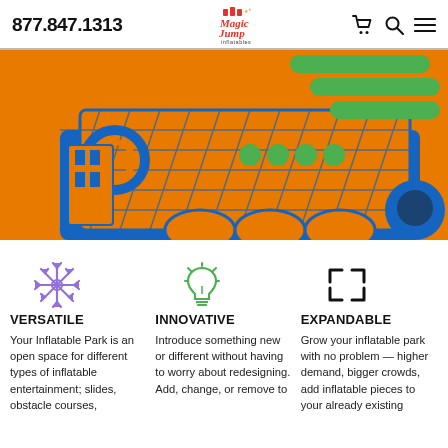877.847.1313 | Magic Jump Inflatables logo | Cart icon | Search icon | Menu icon
[Figure (photo): 3D render of an inflatable park with orange and blue patterns, green slides and obstacles]
[Figure (illustration): Versatile icon: purple snowflake/arrows pointing outward]
VERSATILE
Your Inflatable Park is an open space for different types of inflatable entertainment; slides, obstacle courses,
[Figure (illustration): Innovative icon: green light bulb]
INNOVATIVE
Introduce something new or different without having to worry about redesigning. Add, change, or remove to
[Figure (illustration): Expandable icon: black expand arrows (four corners pointing outward)]
EXPANDABLE
Grow your inflatable park with no problem — higher demand, bigger crowds, add inflatable pieces to your already existing